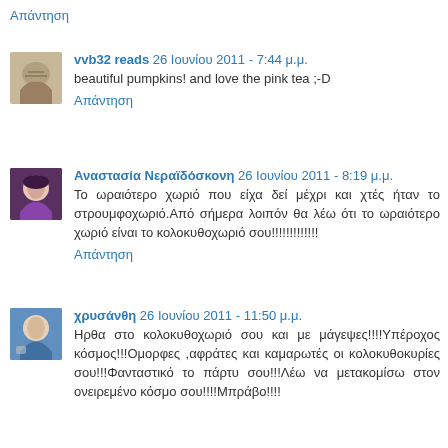Απάντηση
vvb32 reads 26 Ιουνίου 2011 - 7:44 μ.μ.
beautiful pumpkins! and love the pink tea ;-D
Απάντηση
Αναστασία Νεραϊδόσκονη 26 Ιουνίου 2011 - 8:19 μ.μ.
Το ωραιότερο χωριό που είχα δεί μέχρι και χτές ήταν το στρουμφοχωριό.Από σήμερα λοιπόν θα λέω ότι το ωραιότερο χωριό είναι το κολοκυθοχωριό σου!!!!!!!!!!!!!
Απάντηση
χρυσάνθη 26 Ιουνίου 2011 - 11:50 μ.μ.
Ηρθα στο κολοκυθοχωριό σου και με μάγεψες!!!!Υπέροχος κόσμος!!!Ομορφες ,αφράτες και καμαρωτές οι κολοκυθοκυρίες σου!!!Φανταστικό το πάρτυ σου!!!Λέω να μετακομίσω στον ονειρεμένο κόσμο σου!!!!Μπράβο!!!!